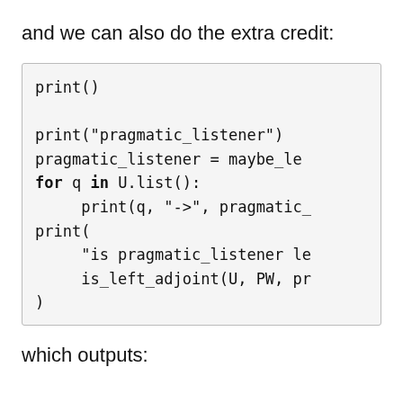and we can also do the extra credit:
print()

print("pragmatic_listener")
pragmatic_listener = maybe_le
for q in U.list():
    print(q, "->", pragmatic_
print(
    "is pragmatic_listener le
    is_left_adjoint(U, PW, pr
)
which outputs: